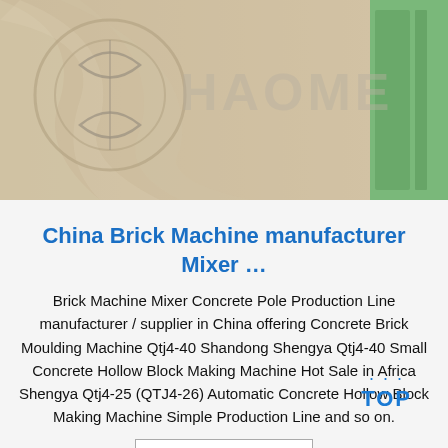[Figure (photo): Company banner/hero image showing machinery covered in plastic wrap with a logo overlay reading 'HAOMEN' and a green machinery component visible on the right side.]
China Brick Machine manufacturer Mixer …
Brick Machine Mixer Concrete Pole Production Line manufacturer / supplier in China offering Concrete Brick Moulding Machine Qtj4-40 Shandong Shengya Qtj4-40 Small Concrete Hollow Block Making Machine Hot Sale in Africa Shengya Qtj4-25 (QTJ4-26) Automatic Concrete Hollow Block Making Machine Simple Production Line and so on.
Get Price